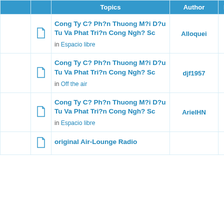|  |  | Topics | Author | Replies | Views |
| --- | --- | --- | --- | --- | --- |
|  | [icon] | Cong Ty C? Ph?n Thuong M?i D?u Tu Va Phat Tri?n Cong Ngh? Sc
in Espacio libre | Alloquei | 0 | 2226 |
|  | [icon] | Cong Ty C? Ph?n Thuong M?i D?u Tu Va Phat Tri?n Cong Ngh? Sc
in Off the air | djf1957 | 0 | 1854 |
|  | [icon] | Cong Ty C? Ph?n Thuong M?i D?u Tu Va Phat Tri?n Cong Ngh? Sc
in Espacio libre | ArielHN | 0 | 1582 |
|  | [icon] | original Air-Lounge Radio... |  |  |  |